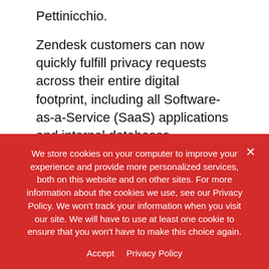Pettinicchio.
Zendesk customers can now quickly fulfill privacy requests across their entire digital footprint, including all Software-as-a-Service (SaaS) applications and internal databases. Companies can delete personal data across both structured and unstructured data and orchestrate data actions such as access, deletion, opt-out, and more across the billions of emails, support tickets, chat messages, and Help Center comments powered through Zendesk's platform. Importantly, Transcend's Zendesk integration allows companies to
We store cookies on your computer to improve your experience and provide more personalized services, both on this website and on other sites. For more information about the cookies we use, see our Privacy Policy. We won't track your information when you visit our site. We will have to use at least one cookie to ensure that you won't have to make this choice again.
Accept   Privacy Policy